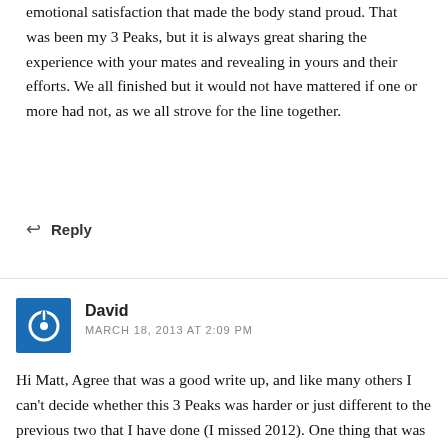emotional satisfaction that made the body stand proud. That was been my 3 Peaks, but it is always great sharing the experience with your mates and revealing in yours and their efforts. We all finished but it would not have mattered if one or more had not, as we all strove for the line together.
↩ Reply
David
MARCH 18, 2013 AT 2:09 PM
Hi Matt, Agree that was a good write up, and like many others I can't decide whether this 3 Peaks was harder or just different to the previous two that I have done (I missed 2012). One thing that was certianly harder this year